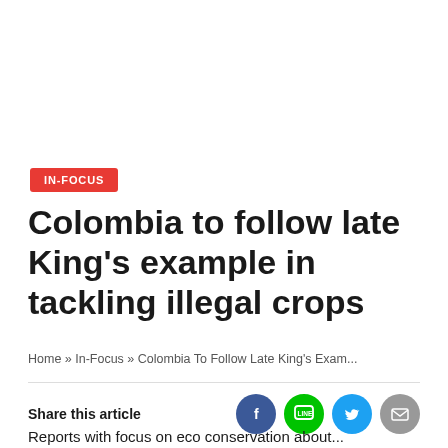IN-FOCUS
Colombia to follow late King's example in tackling illegal crops
Home » In-Focus » Colombia To Follow Late King's Exam...
Share this article
[Figure (infographic): Social share icons: Facebook (dark blue circle with f), LINE (green circle with LINE logo), Twitter (blue circle with bird), Email (grey circle with envelope)]
Reports with focus on eco conservation about...